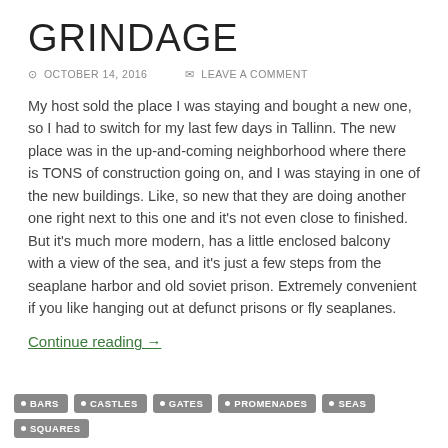GRINDAGE
⊙ OCTOBER 14, 2016   ✉ LEAVE A COMMENT
My host sold the place I was staying and bought a new one, so I had to switch for my last few days in Tallinn. The new place was in the up-and-coming neighborhood where there is TONS of construction going on, and I was staying in one of the new buildings. Like, so new that they are doing another one right next to this one and it's not even close to finished. But it's much more modern, has a little enclosed balcony with a view of the sea, and it's just a few steps from the seaplane harbor and old soviet prison. Extremely convenient if you like hanging out at defunct prisons or fly seaplanes.
Continue reading →
BARS · CASTLES · GATES · PROMENADES · SEAS · SQUARES